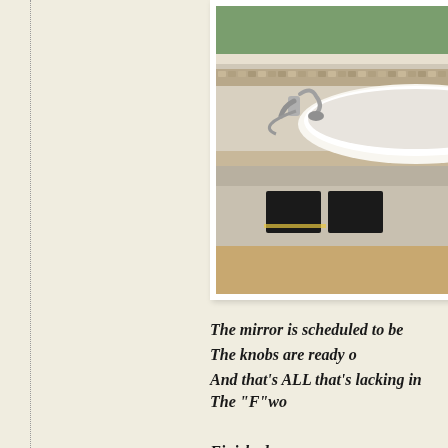[Figure (photo): Bathroom renovation photo showing a bathtub with faucet and handheld shower attachment, mosaic tile backsplash near windows, and open access panels beneath the tub platform, white photo border]
The mirror is scheduled to be installed tomorrow. The knobs are ready o... And that's ALL that's lacking in...
The "F"wo... Finished